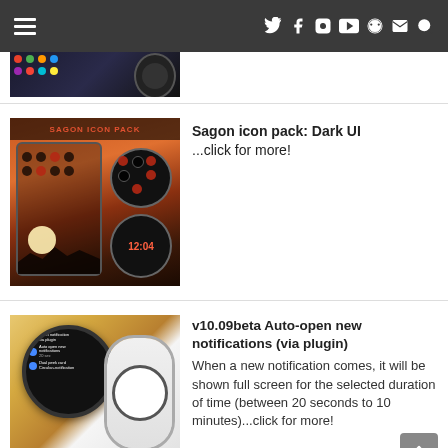Navigation header with hamburger menu and social icons
[Figure (screenshot): Partial screenshot of a watch theme icon pack article thumbnail at top]
[Figure (screenshot): Sagon icon pack Dark UI showing smartphone and smartwatch screens with dark circular icons on warm background]
Sagon icon pack: Dark UI ...click for more!
[Figure (screenshot): Smartwatch showing notifications screen with Auto-open new notifications plugin setting]
v10.09beta Auto-open new notifications (via plugin) When a new notification comes, it will be shown full screen for the selected duration of time (between 20 seconds to 10 minutes)...click for more!